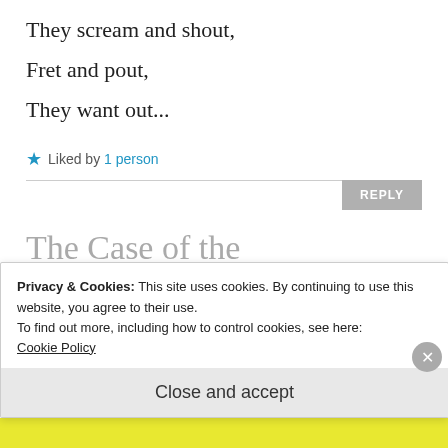They scream and shout,
Fret and pout,
They want out...
★ Liked by 1 person
REPLY
The Case of the Perambulating
Privacy & Cookies: This site uses cookies. By continuing to use this website, you agree to their use.
To find out more, including how to control cookies, see here:
Cookie Policy
Close and accept